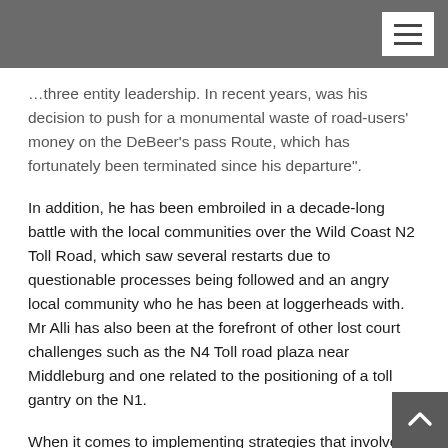…three entity leadership. In recent years, was his decision to push for a monumental waste of road-users' money on the DeBeer's pass Route, which has fortunately been terminated since his departure".
In addition, he has been embroiled in a decade-long battle with the local communities over the Wild Coast N2 Toll Road, which saw several restarts due to questionable processes being followed and an angry local community who he has been at loggerheads with. Mr Alli has also been at the forefront of other lost court challenges such as the N4 Toll road plaza near Middleburg and one related to the positioning of a toll gantry on the N1.
When it comes to implementing strategies that involve the input and meaningful engagement with society, Mr Alli is generally found wanting and is known for his abrasive and dismissive responses to challenges which arise from civil society.
Of further concern on the entire Passenger Rail Agency of South Africa (PRASA) Board debacle, is the view that the